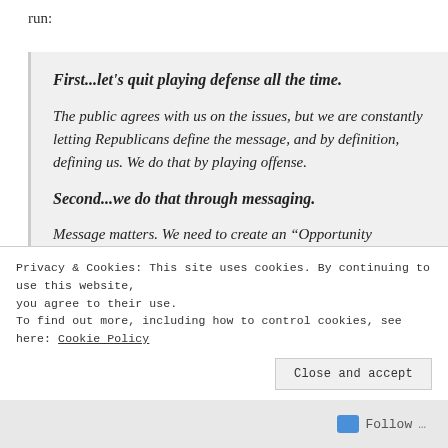run:
First...let's quit playing defense all the time.
The public agrees with us on the issues, but we are constantly letting Republicans define the message, and by definition, defining us.  We do that by playing offense.
Second...we do that through messaging.
Message matters.  We need to create an “Opportunity Agenda” based on putting people first.  Our “Opportunity
Privacy & Cookies: This site uses cookies. By continuing to use this website, you agree to their use.
To find out more, including how to control cookies, see here: Cookie Policy
Follow